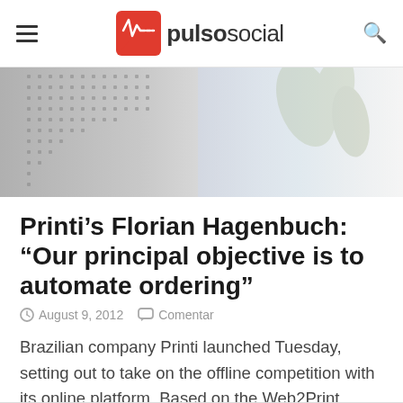pulsosocial
[Figure (photo): Abstract hero image with dot pattern texture on left blending to soft pastel colors on right]
Printi’s Florian Hagenbuch: “Our principal objective is to automate ordering”
August 9, 2012   Comentar
Brazilian company Printi launched Tuesday, setting out to take on the offline competition with its online platform. Based on the Web2Print market concept…